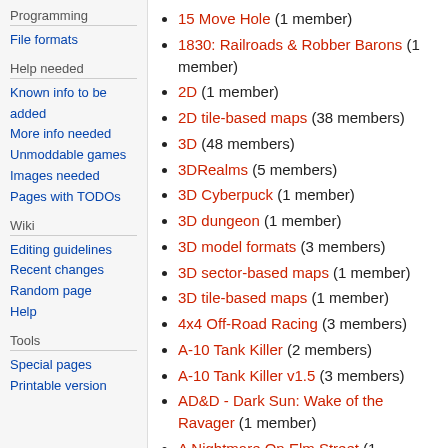Programming
File formats
Help needed
Known info to be added
More info needed
Unmoddable games
Images needed
Pages with TODOs
Wiki
Editing guidelines
Recent changes
Random page
Help
Tools
Special pages
Printable version
15 Move Hole (1 member)
1830: Railroads & Robber Barons (1 member)
2D (1 member)
2D tile-based maps (38 members)
3D (48 members)
3DRealms (5 members)
3D Cyberpuck (1 member)
3D dungeon (1 member)
3D model formats (3 members)
3D sector-based maps (1 member)
3D tile-based maps (1 member)
4x4 Off-Road Racing (3 members)
A-10 Tank Killer (2 members)
A-10 Tank Killer v1.5 (3 members)
AD&D - Dark Sun: Wake of the Ravager (1 member)
A Nightmare On Elm Street (1 member)